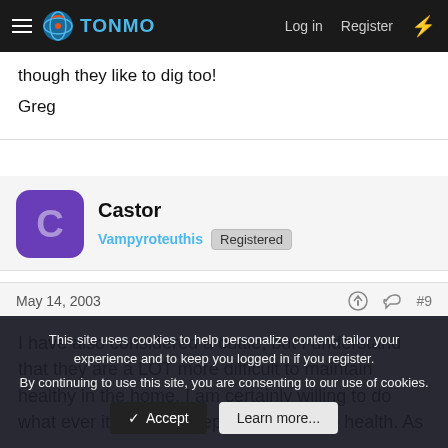TONMO — Log in | Register
though they like to dig too!
Greg
Castor
Vampyroteuthis Registered
May 14, 2003  #9
I have also considered a cuttle, but I understand that they are a LOT more difficult to maintain healthy in the home. I am certainly willing to do what ever it takes to keep one in pristine health. As
This site uses cookies to help personalize content, tailor your experience and to keep you logged in if you register.
By continuing to use this site, you are consenting to our use of cookies.
Accept  Learn more...